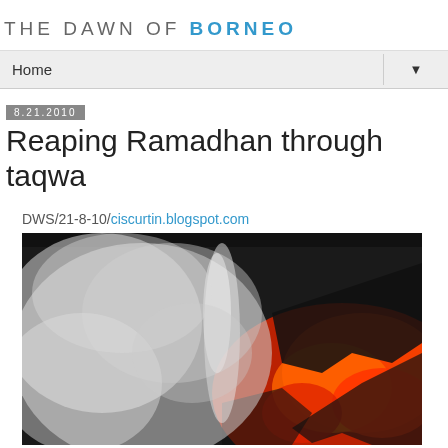THE DAWN OF BORNEO
Home
8.21.2010
Reaping Ramadhan through taqwa
DWS/21-8-10/ciscurtin.blogspot.com
[Figure (photo): Volcano photo showing glowing red lava on the right side and billowing white and grey smoke/steam on the left side, with black rocky surface visible.]